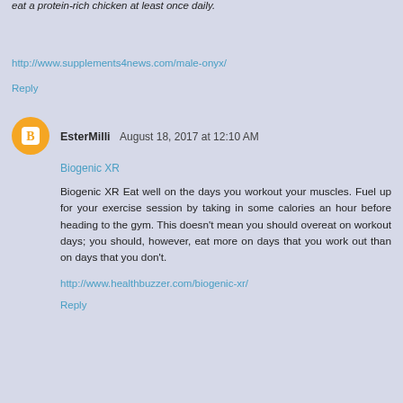eat a protein-rich chicken at least once daily.
http://www.supplements4news.com/male-onyx/
Reply
EsterMilli  August 18, 2017 at 12:10 AM
Biogenic XR
Biogenic XR Eat well on the days you workout your muscles. Fuel up for your exercise session by taking in some calories an hour before heading to the gym. This doesn't mean you should overeat on workout days; you should, however, eat more on days that you work out than on days that you don't.
http://www.healthbuzzer.com/biogenic-xr/
Reply